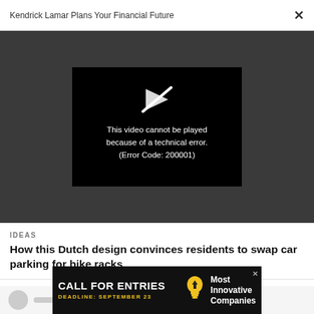Kendrick Lamar Plans Your Financial Future  ×
[Figure (screenshot): Video player showing error message: 'This video cannot be played because of a technical error. (Error Code: 200001)' on a black background, within a dark gray container.]
IDEAS
How this Dutch design convinces residents to swap car parking for bike racks
[Figure (other): Advertisement banner: CALL FOR ENTRIES, DEADLINE: SEPTEMBER 23, Most Innovative Companies, with lightbulb icon]